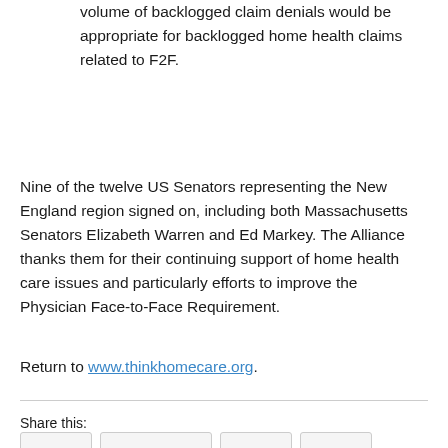volume of backlogged claim denials would be appropriate for backlogged home health claims related to F2F.
Nine of the twelve US Senators representing the New England region signed on, including both Massachusetts Senators Elizabeth Warren and Ed Markey. The Alliance thanks them for their continuing support of home health care issues and particularly efforts to improve the Physician Face-to-Face Requirement.
Return to www.thinkhomecare.org.
Share this: